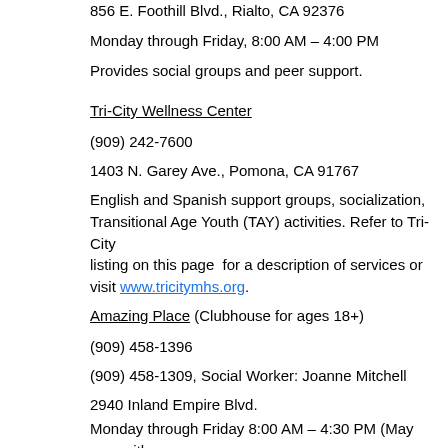856 E. Foothill Blvd., Rialto, CA 92376
Monday through Friday, 8:00 AM – 4:00 PM
Provides social groups and peer support.
Tri-City Wellness Center
(909) 242-7600
1403 N. Garey Ave., Pomona, CA 91767
English and Spanish support groups, socialization, Transitional Age Youth (TAY) activities. Refer to Tri-City listing on this page  for a description of services or visit www.tricitymhs.org.
Amazing Place (Clubhouse for ages 18+)
(909) 458-1396
(909) 458-1309, Social Worker: Joanne Mitchell
2940 Inland Empire Blvd.
Monday through Friday 8:00 AM – 4:30 PM (May vary with advance notices due to outings)
Transportation offered from 6 pick-up sites: Mon Ontario (2), Rancho Cuamonga, Upland (2).